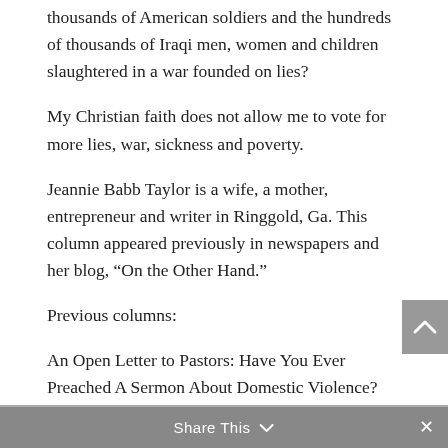thousands of American soldiers and the hundreds of thousands of Iraqi men, women and children slaughtered in a war founded on lies?
My Christian faith does not allow me to vote for more lies, war, sickness and poverty.
Jeannie Babb Taylor is a wife, a mother, entrepreneur and writer in Ringgold, Ga. This column appeared previously in newspapers and her blog, “On the Other Hand.”
Previous columns:
An Open Letter to Pastors: Have You Ever Preached A Sermon About Domestic Violence?
Share This  ∨  ×